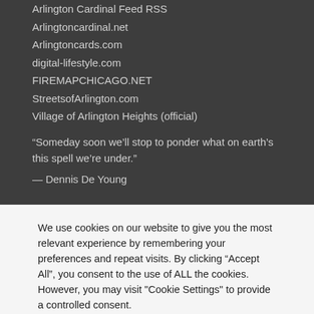Arlington Cardinal Feed RSS
Arlingtoncardinal.net
Arlingtoncards.com
digital-lifestyle.com
FIREMAPCHICAGO.NET
StreetsofArlington.com
Village of Arlington Heights (official)
“Someday soon we’ll stop to ponder what on earth’s this spell we’re under.”
— Dennis De Young
We use cookies on our website to give you the most relevant experience by remembering your preferences and repeat visits. By clicking “Accept All”, you consent to the use of ALL the cookies. However, you may visit "Cookie Settings" to provide a controlled consent.